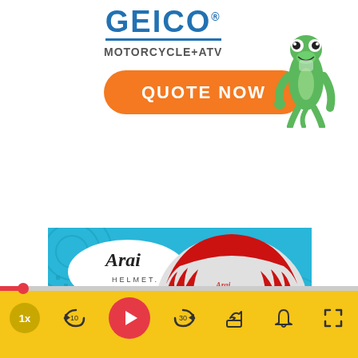[Figure (logo): GEICO Motorcycle+ATV insurance advertisement with orange 'QUOTE NOW' button and GEICO gecko mascot]
[Figure (photo): Arai Helmet advertisement showing a red and white motorcycle helmet with flames design on cyan/blue background]
[Figure (other): Video player controls bar with yellow background, red progress dot, speed button (1x), rewind 10s, play button, skip 30s, share, bell, and fullscreen icons]